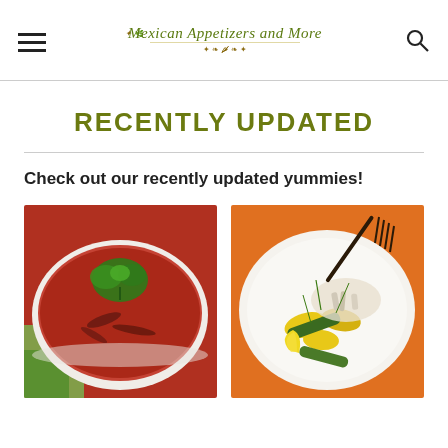Mexican Appetizers and More
RECENTLY UPDATED
Check out our recently updated yummies!
[Figure (photo): A white bowl of red tomato-based soup topped with fresh cilantro, with a green napkin beside it]
[Figure (photo): A white plate with grilled vegetables including zucchini, yellow squash, and lemon slices, with a dark fork on an orange background]